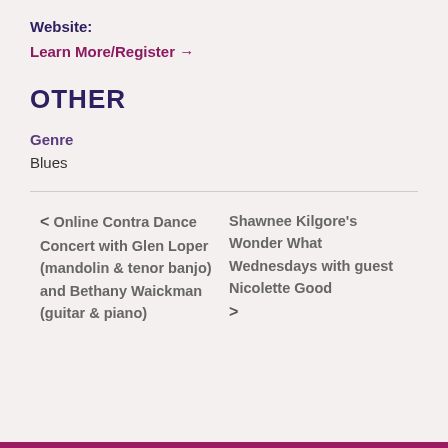Website:
Learn More/Register →
OTHER
Genre
Blues
< Online Contra Dance Concert with Glen Loper (mandolin & tenor banjo) and Bethany Waickman (guitar & piano)
Shawnee Kilgore's Wonder What Wednesdays with guest Nicolette Good >